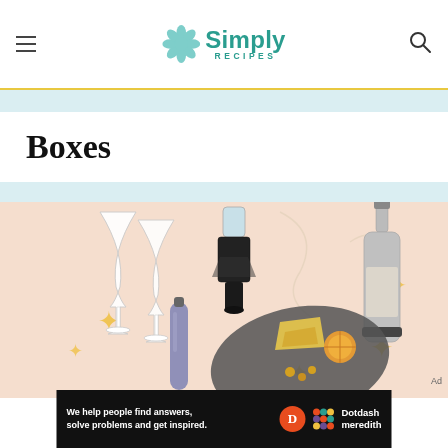Simply Recipes
Boxes
[Figure (photo): Flatlay of wine-related products on a peach background with gold star decorations: two wine glasses, a wine aerator/pourer, a wine bottle chiller, a purple stainless steel water bottle, and a slate cheese board with cheese and orange slices.]
[Figure (infographic): Dotdash Meredith advertisement banner: 'We help people find answers, solve problems and get inspired.' with Dotdash Meredith logo.]